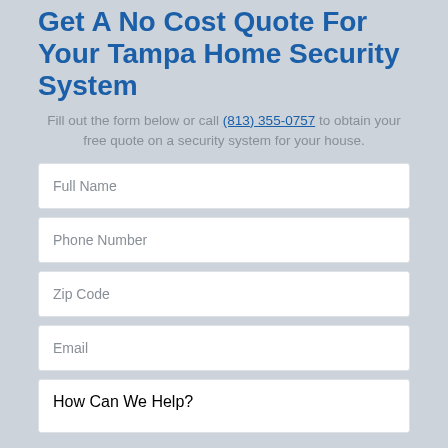Get A No Cost Quote For Your Tampa Home Security System
Fill out the form below or call (813) 355-0757 to obtain your free quote on a security system for your house.
Full Name
Phone Number
Zip Code
Email
How Can We Help?